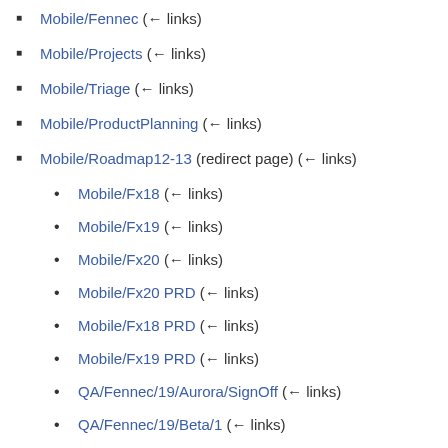Mobile/Fennec  (← links)
Mobile/Projects  (← links)
Mobile/Triage  (← links)
Mobile/ProductPlanning  (← links)
Mobile/Roadmap12-13 (redirect page)  (← links)
Mobile/Fx18  (← links)
Mobile/Fx19  (← links)
Mobile/Fx20  (← links)
Mobile/Fx20 PRD  (← links)
Mobile/Fx18 PRD  (← links)
Mobile/Fx19 PRD  (← links)
QA/Fennec/19/Aurora/SignOff  (← links)
QA/Fennec/19/Beta/1  (← links)